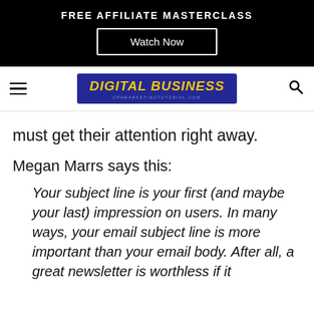FREE AFFILIATE MASTERCLASS
[Figure (screenshot): Watch Now button on black background banner]
[Figure (logo): Digital Business logo with subtitle cpamarketingtutorial.com on blue background, with hamburger menu and search icon]
must get their attention right away.
Megan Marrs says this:
Your subject line is your first (and maybe your last) impression on users. In many ways, your email subject line is more important than your email body. After all, a great newsletter is worthless if it